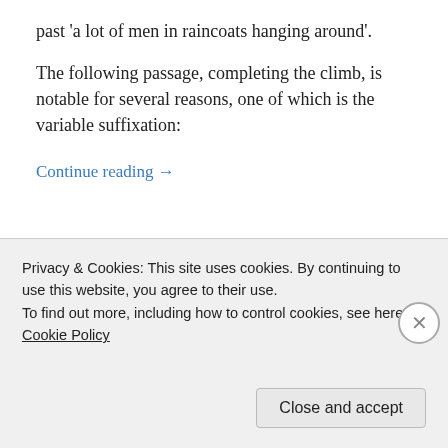past 'a lot of men in raincoats hanging around'.
The following passage, completing the climb, is notable for several reasons, one of which is the variable suffixation:
Continue reading →
Privacy & Cookies: This site uses cookies. By continuing to use this website, you agree to their use.
To find out more, including how to control cookies, see here: Cookie Policy
Close and accept